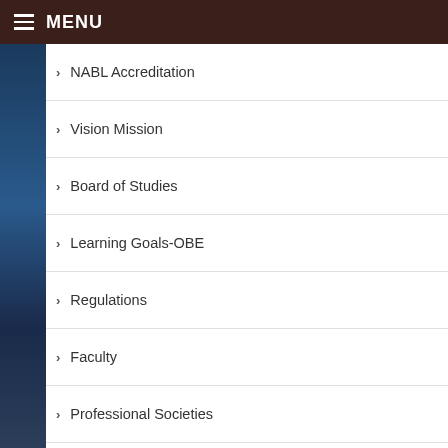MENU
NABL Accreditation
Vision Mission
Board of Studies
Learning Goals-OBE
Regulations
Faculty
Professional Societies
Infrastructure
R&D and Consultancy
Industry-Institute Activities
Student Association-TAMEER